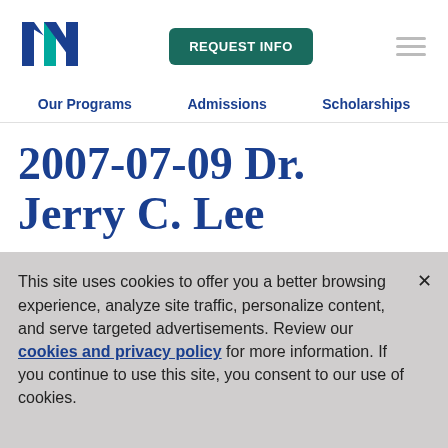[Figure (logo): University logo with stylized N letters in navy blue and teal]
REQUEST INFO
Our Programs  Admissions  Scholarships
2007-07-09 Dr. Jerry C. Lee
This site uses cookies to offer you a better browsing experience, analyze site traffic, personalize content, and serve targeted advertisements. Review our cookies and privacy policy for more information. If you continue to use this site, you consent to our use of cookies.